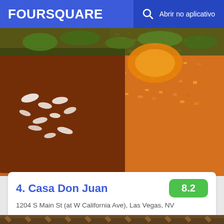FOURSQUARE  Abrir no aplicativo
[Figure (photo): Close-up photo of Mexican food dish with enchiladas covered in mole sauce topped with crumbled cheese, and a side of Spanish rice]
4. Casa Don Juan
1204 S Main St (at W California Ave), Las Vegas, NV
Restaurante Mexicano · Arts District · 86 dicas e avaliações
[Figure (photo): Interior photo of a restaurant with ornate wooden furniture and decorative patterned wallpaper, dimly lit ambiance]